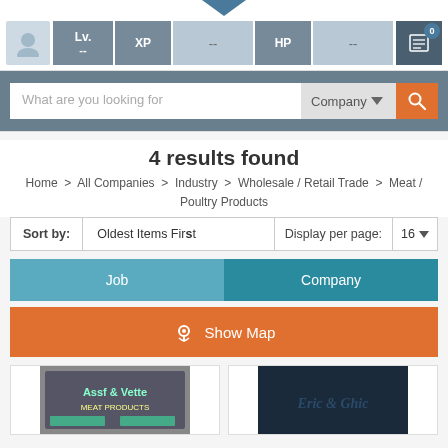[Figure (screenshot): Website header navigation bar with avatar, Lv., XP, HP fields and a notification icon with badge showing 0]
[Figure (screenshot): Search bar with placeholder 'What are you looking for', Company dropdown, and orange search button]
4 results found
Home > All Companies > Industry > Wholesale / Retail Trade > Meat / Poultry Products
| Sort by: | Oldest Items First | Display per page: | 16 |
| --- | --- | --- | --- |
Job    Company
Show Map
[Figure (photo): Company listing card showing a shop sign for Meat Products]
[Figure (photo): Company listing card showing a dark blue sign for Eric & Ghic]